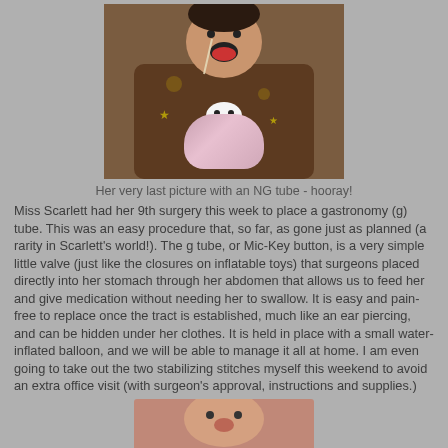[Figure (photo): Photo of baby/child with an NG tube, wearing brown animal-print pajamas with colorful spots, face partially visible]
Her very last picture with an NG tube - hooray!
Miss Scarlett had her 9th surgery this week to place a gastronomy (g) tube.  This was an easy procedure that, so far, as gone just as planned (a rarity in Scarlett's world!).  The g tube, or Mic-Key button, is a very simple little valve (just like the closures on inflatable toys) that surgeons placed directly into her stomach through her abdomen that allows us to feed her and give medication without needing her to swallow. It is easy and pain-free to replace once the tract is established, much like an ear piercing, and can be hidden under her clothes.  It is held in place with a small water-inflated balloon, and we will be able to manage it all at home.  I am even going to take out the two stabilizing stitches myself this weekend to avoid an extra office visit (with surgeon's approval, instructions and supplies.)
[Figure (photo): Partial photo visible at bottom of page, appears to show a child]